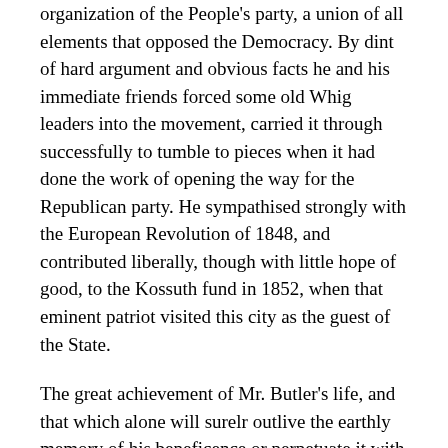organization of the People's party, a union of all elements that opposed the Democracy. By dint of hard argument and obvious facts he and his immediate friends forced some old Whig leaders into the movement, carried it through successfully to tumble to pieces when it had done the work of opening the way for the Republican party. He sympathised strongly with the European Revolution of 1848, and contributed liberally, though with little hope of good, to the Kossuth fund in 1852, when that eminent patriot visited this city as the guest of the State.
The great achievement of Mr. Butler's life, and that which alone will surelr outlive the earthly memory of his beneficence or perpetuate it with its own existence, is the Northwestern Christian University, as it was at first and for many years called. This is as wholly his work as any great institution can be any one man's work. He conceived the idea of it, gave it shape and consistence, devised the plan to carry it out, drafted the charter for it in 1849, which the Legislature passed in 1850, and supervised all the steps in its progress till it emerged an active and flourishing school, full of good service but more full of good promise. He was chairman of the board of commissioners first, and then, under the charter, chairman